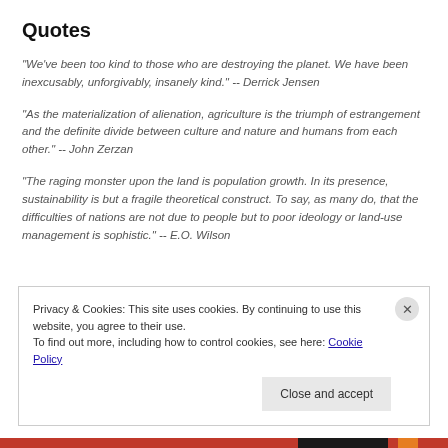Quotes
"We've been too kind to those who are destroying the planet. We have been inexcusably, unforgivably, insanely kind." -- Derrick Jensen
"As the materialization of alienation, agriculture is the triumph of estrangement and the definite divide between culture and nature and humans from each other." -- John Zerzan
"The raging monster upon the land is population growth. In its presence, sustainability is but a fragile theoretical construct. To say, as many do, that the difficulties of nations are not due to people but to poor ideology or land-use management is sophistic." -- E.O. Wilson
Privacy & Cookies: This site uses cookies. By continuing to use this website, you agree to their use.
To find out more, including how to control cookies, see here: Cookie Policy
Close and accept